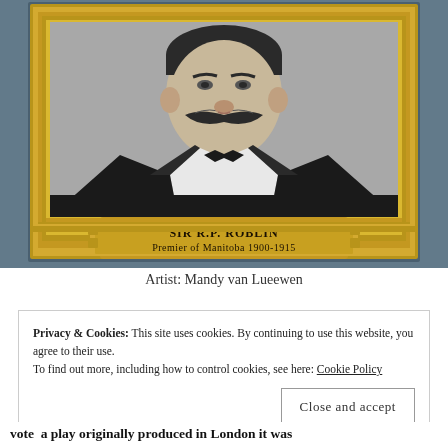[Figure (illustration): A painted portrait in a gold frame of Sir R.P. Roblin, Premier of Manitoba 1900-1915. The portrait shows a man with a large moustache wearing a dark suit and bow tie. The frame has a gold nameplate at the bottom reading 'SIR R.P. ROBLIN Premier of Manitoba 1900-1915'. The painting is displayed against a blue-grey wall background.]
Artist: Mandy van Lueewen
Privacy & Cookies: This site uses cookies. By continuing to use this website, you agree to their use.
To find out more, including how to control cookies, see here: Cookie Policy
vote  a play originally produced in London it was